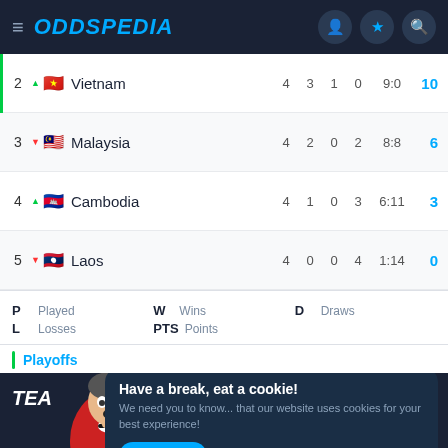ODDSPEDIA
| Pos | Team | P | W | D | L | Goals | PTS |
| --- | --- | --- | --- | --- | --- | --- | --- |
| 2 | Vietnam | 4 | 3 | 1 | 0 | 9:0 | 10 |
| 3 | Malaysia | 4 | 2 | 0 | 2 | 8:8 | 6 |
| 4 | Cambodia | 4 | 1 | 0 | 3 | 6:11 | 3 |
| 5 | Laos | 4 | 0 | 0 | 4 | 1:14 | 0 |
P Played  W Wins  D Draws  L Losses  PTS Points
Playoffs
[Figure (photo): Football player in red Manchester United-style jersey, looking shocked, with cookie consent banner overlay]
Have a break, eat a cookie! We need you to know... that our website uses cookies for your best experience! ACCEPT  Read more
Goals Scored  2021